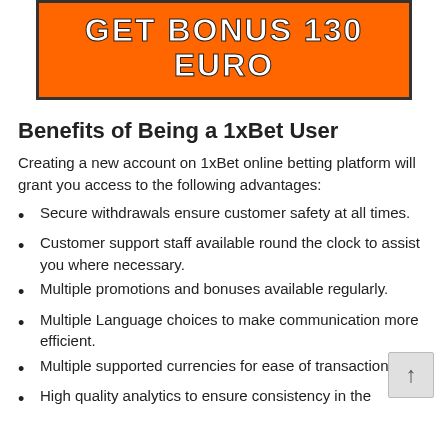[Figure (other): Orange banner button with bold white text reading GET BONUS 130 EURO]
Benefits of Being a 1xBet User
Creating a new account on 1xBet online betting platform will grant you access to the following advantages:
Secure withdrawals ensure customer safety at all times.
Customer support staff available round the clock to assist you where necessary.
Multiple promotions and bonuses available regularly.
Multiple Language choices to make communication more efficient.
Multiple supported currencies for ease of transactions.
High quality analytics to ensure consistency in the...